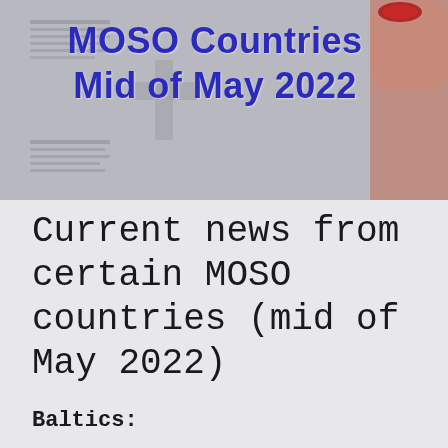[Figure (photo): Banner image showing blurred newspaper/document pages in grayscale with a female hand holding a document in the upper right corner, overlaid with bold blue text reading 'MOSO Countries Mid of May 2022']
Current news from certain MOSO countries (mid of May 2022)
Baltics: